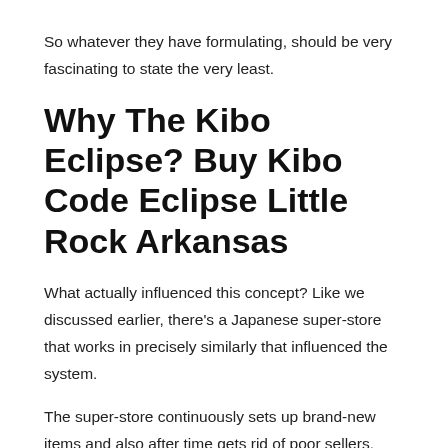So whatever they have formulating, should be very fascinating to state the very least.
Why The Kibo Eclipse? Buy Kibo Code Eclipse Little Rock Arkansas
What actually influenced this concept? Like we discussed earlier, there's a Japanese super-store that works in precisely similarly that influenced the system.
The super-store continuously sets up brand-new items and also after time gets rid of poor sellers. What remains is additionally kept till it no more markets.
So, there is a consistent churn in the super-store. This churn draws in the customers, that aspire to see what the store is marketing